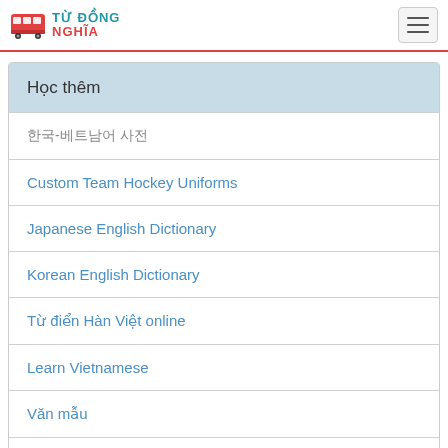TỪ ĐỒNG NGHĨA
Học thêm
한국-베트남어 사전
Custom Team Hockey Uniforms
Japanese English Dictionary
Korean English Dictionary
Từ điển Hàn Việt online
Learn Vietnamese
Văn mẫu
Truyện tiếng Anh